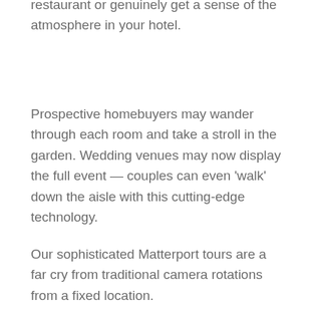restaurant or genuinely get a sense of the atmosphere in your hotel.
Prospective homebuyers may wander through each room and take a stroll in the garden. Wedding venues may now display the full event — couples can even 'walk' down the aisle with this cutting-edge technology.
Our sophisticated Matterport tours are a far cry from traditional camera rotations from a fixed location.